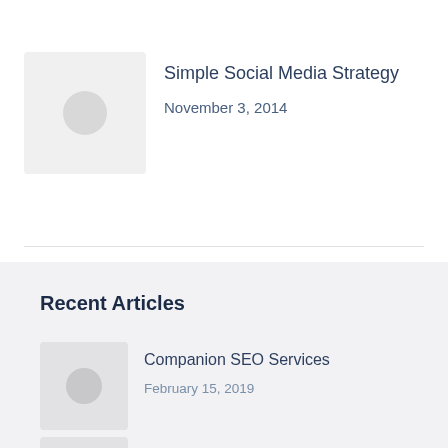[Figure (photo): Thumbnail placeholder with light gray background and circular icon for Simple Social Media Strategy article]
Simple Social Media Strategy
November 3, 2014
Recent Articles
[Figure (photo): Thumbnail placeholder with light gray background and circular icon for Companion SEO Services article]
Companion SEO Services
February 15, 2019
[Figure (photo): Thumbnail placeholder with light gray background and circular icon for Independent Beauty SEO Services article]
Independent Beauty SEO Services
December 27, 2018